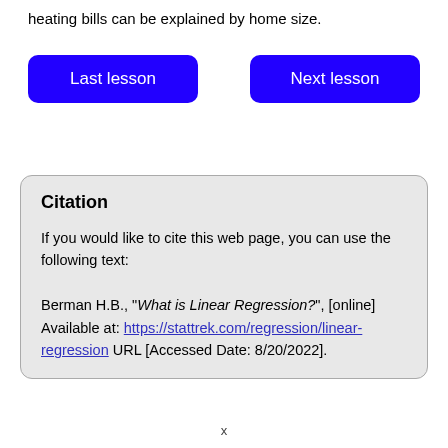heating bills can be explained by home size.
Last lesson
Next lesson
Citation
If you would like to cite this web page, you can use the following text:
Berman H.B., "What is Linear Regression?", [online] Available at: https://stattrek.com/regression/linear-regression URL [Accessed Date: 8/20/2022].
x